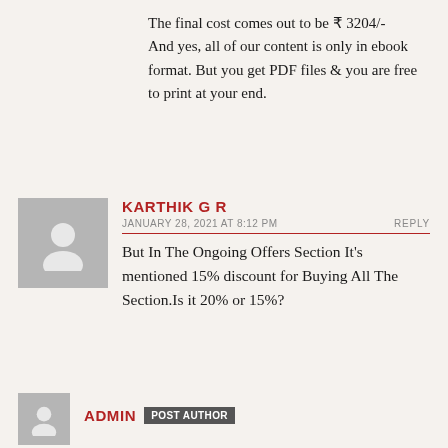The final cost comes out to be ₹ 3204/-
And yes, all of our content is only in ebook format. But you get PDF files & you are free to print at your end.
KARTHIK G R
JANUARY 28, 2021 AT 8:12 PM
REPLY
But In The Ongoing Offers Section It's mentioned 15% discount for Buying All The Section.Is it 20% or 15%?
ADMIN POST AUTHOR